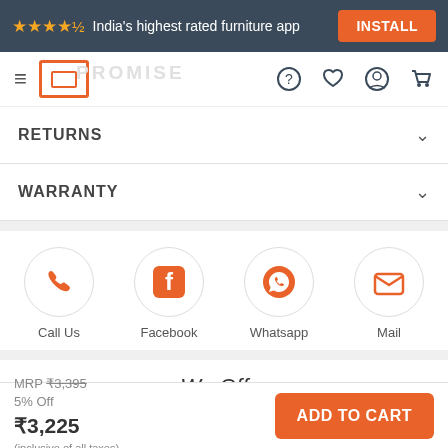★★★★½ India's highest rated furniture app  INSTALL
[Figure (screenshot): Navigation bar with hamburger menu, Pepperfry logo, help icon, heart icon, user icon, and cart icon]
RETURNS
WARRANTY
[Figure (infographic): Social contact icons: Call Us, Facebook, Whatsapp, Mail — each in a circle]
We Offer
[Figure (illustration): Partial logo/icon partially visible at bottom of We Offer section]
MRP ₹3,395  5% Off  ₹3,225  (inclusive of all taxes)  ADD TO CART